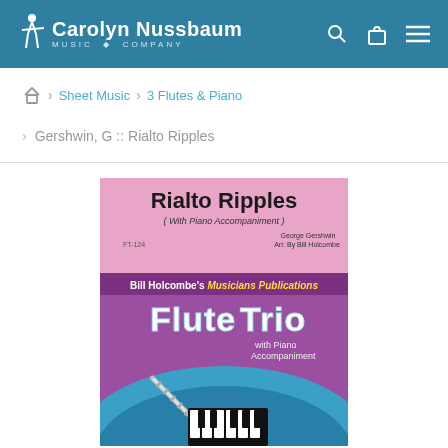Carolyn Nussbaum Music Company
Sheet Music > 3 Flutes & Piano
Gershwin, G :: Rialto Ripples
[Figure (photo): Book cover for 'Rialto Ripples' arranged for Flute Trio with Piano Accompaniment. Pink and purple cover showing two flutes and piano keys. Bill Holcombe's Musicians Publications. Arranged by Bill Holcombe. George Gershwin. FT-124.]